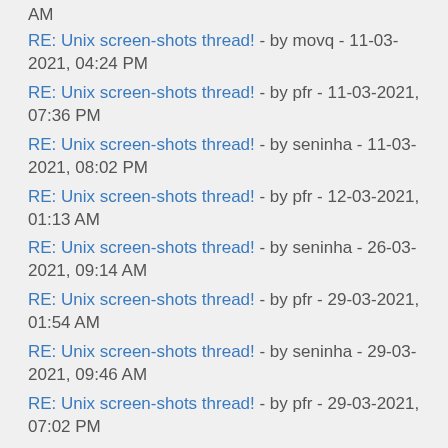AM
RE: Unix screen-shots thread! - by movq - 11-03-2021, 04:24 PM
RE: Unix screen-shots thread! - by pfr - 11-03-2021, 07:36 PM
RE: Unix screen-shots thread! - by seninha - 11-03-2021, 08:02 PM
RE: Unix screen-shots thread! - by pfr - 12-03-2021, 01:13 AM
RE: Unix screen-shots thread! - by seninha - 26-03-2021, 09:14 AM
RE: Unix screen-shots thread! - by pfr - 29-03-2021, 01:54 AM
RE: Unix screen-shots thread! - by seninha - 29-03-2021, 09:46 AM
RE: Unix screen-shots thread! - by pfr - 29-03-2021, 07:02 PM
RE: Unix screen-shots thread! - by _-_Specter_-_ - 23-08-2021, 04:22 AM
RE: Unix screen-shots thread! - by mcol - 23-08-2021, 06:41 AM
RE: Unix screen-shots thread! - by _-_Specter_-_ - 23-08-2021, 07:02 AM
RE: Unix screen-shots thread! - by mcol - 23-08-2021, 07:13 AM